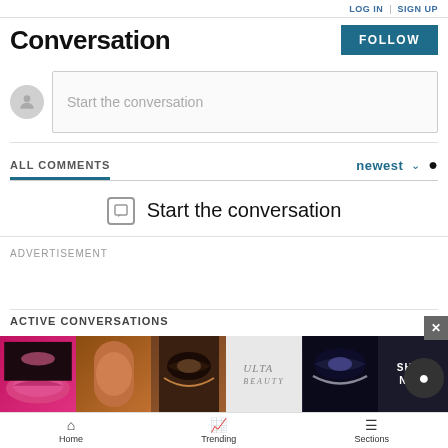LOG IN | SIGN UP
Conversation
FOLLOW
Start the conversation
ALL COMMENTS
newest
Start the conversation
ADVERTISEMENT
ACTIVE CONVERSATIONS
Newly-opened paved trail connects Truckee to Northstar
[Figure (photo): Ulta Beauty advertisement banner with makeup imagery]
Home  Trending  Sections